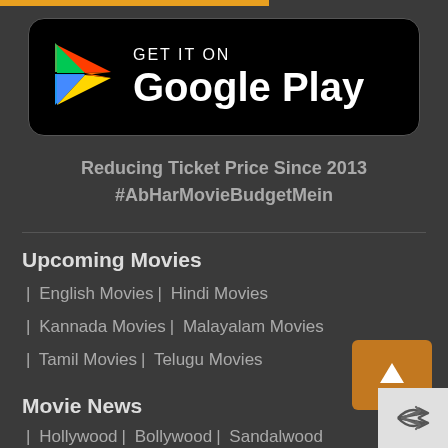[Figure (logo): Google Play Store badge — black rounded rectangle with Google Play triangle logo and text 'GET IT ON Google Play']
Reducing Ticket Price Since 2013
#AbHarMovieBudgetMein
Upcoming Movies
| English Movies |  Hindi Movies
| Kannada Movies |  Malayalam Movies
| Tamil Movies |  Telugu Movies
Movie News
| Hollywood |  Bollywood |  Sandalwood